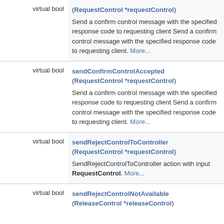| Type | Function |
| --- | --- |
| virtual bool | (RequestControl *requestControl)
Send a confirm control message with the specified response code to requesting client Send a confirm control message with the specified response code to requesting client. More... |
| virtual bool | sendConfirmControlAccepted (RequestControl *requestControl)
Send a confirm control message with the specified response code to requesting client Send a confirm control message with the specified response code to requesting client. More... |
| virtual bool | sendRejectControlToController (RequestControl *requestControl)
SendRejectControlToController action with input RequestControl. More... |
| virtual bool | sendRejectControlNotAvailable (ReleaseControl *releaseControl) |